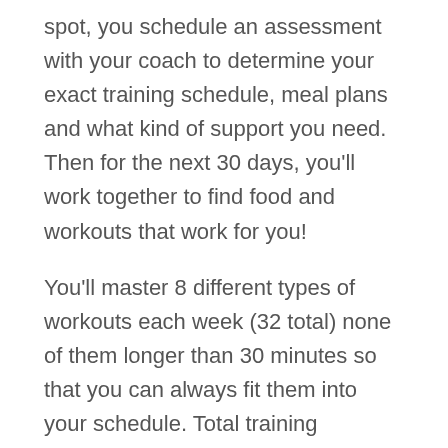spot, you schedule an assessment with your coach to determine your exact training schedule, meal plans and what kind of support you need. Then for the next 30 days, you'll work together to find food and workouts that work for you!
You'll master 8 different types of workouts each week (32 total) none of them longer than 30 minutes so that you can always fit them into your schedule. Total training commitment is only 3 hours each week. Each week you'll also get a custom meal plan with meal options that are based around the food you actually enjoy and have time to make.
At the end of each week, you have an online check in with your coach to review your diet